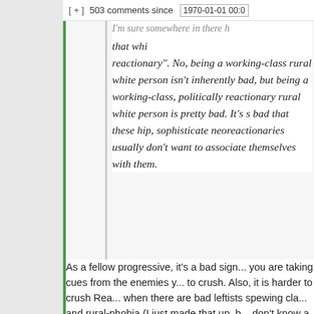[ + ]  503 comments since  1970-01-01 00:0
I'm sure somewhere in there ... that wh... reactionary". No, being a working-class rural white person isn't inherently bad, but being a working-class, politically reactionary rural white person is pretty bad. It's s... bad that these hip, sophisticate... neoreactionaries usually don't want to associate themselves with them.
As a fellow progressive, it's a bad sign... you are taking cues from the enemies y... to crush. Also, it is harder to crush Rea... when there are bad leftists spewing cla... and rural-phobia (I just made that up, b... don't know a better word, but many of ...